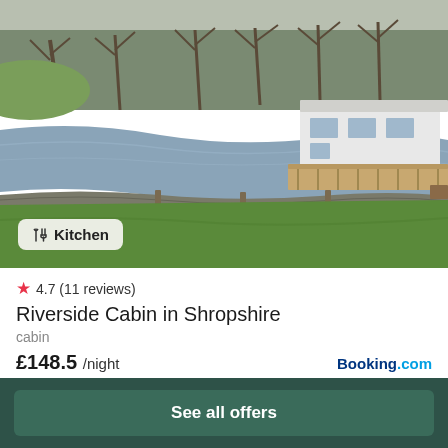[Figure (photo): Riverside cabin in Shropshire — outdoor landscape photo showing a river on the left, a stone wall/bank, green lawn, and a white cabin with wooden deck in the upper right. Bare winter trees in background. A kitchen amenity badge overlaid in the lower left.]
4.7 (11 reviews)
Riverside Cabin in Shropshire
cabin
£148.5 /night
Booking.com
View deal
See all offers